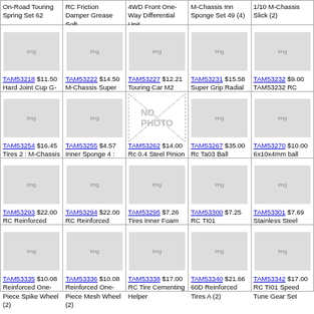| On-Road Touring Spring Set 62 | RC Friction Damper Grease Soft | 4WD Front One-Way Differential Unit | M-Chassis Inn Sponge Set 49 (4) | 1/10 M-Chassis Slick (2) |
| TAM53218 $11.50 Hard Joint Cup G-Diff Touring Car | TAM53222 $14.50 M-Chassis Super Slick 63 (2) | TAM53227 $12.21 Touring Car M2 Radial Tires 62 (2) | TAM53231 $15.58 Super Grip Radial Tires 1/10 4WD 32mm Wide Rear (Pr) | TAM53232 $9.00 TAM53232 RC One-Piece Spoke Wheels 1/10 (1pr) |
| TAM53254 $16.45 Tires 2 : M-Chassis 60D S-Grip Radial | TAM53255 $4.57 Inner Sponge 4 : 60D Hard M-Chassis | TAM53262 $14.00 Rc 0.4 Steel Pinion Gears | TAM53267 $35.00 Rc Ta03 Ball Differential Set | TAM53270 $10.00 6x10x4mm ball bearings RC 1060 Ba Bearings (2) |
| TAM53293 $22.00 RC Reinforced Slick Type-A - (1pr) | TAM53294 $22.00 RC Reinforced Slick Type-B - (1pr) | TAM53295 $7.26 Tires Inner Foam (2) | TAM53300 $7.25 RC TI01 Turnbuckle Tie-Rod Set | TAM53301 $7.69 Stainless Steel Suspension Shaft TI0 |
| TAM53335 $10.08 Reinforced One-Piece Spike Wheel (2) | TAM53336 $10.08 Reinforced One-Piece Mesh Wheel (2) | TAM53338 $17.00 RC Tire Cementing Helper | TAM53340 $21.66 60D Reinforced Tires A (2) | TAM53342 $17.00 RC TI01 Speed Tune Gear Set |